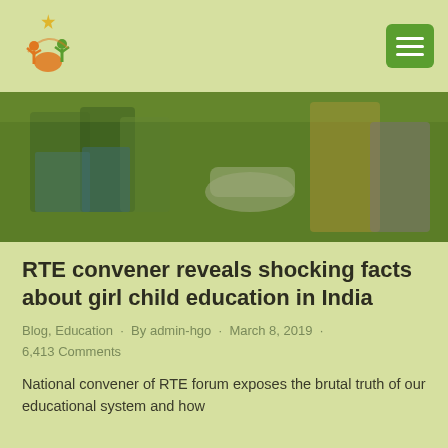[Figure (logo): NGO logo with orange and green figures of children/people with arms raised]
[Figure (photo): Photo of school girls in uniforms receiving food/meal served by a woman in a sari, green-tinted image]
RTE convener reveals shocking facts about girl child education in India
Blog, Education · By admin-hgo · March 8, 2019 · 6,413 Comments
National convener of RTE forum exposes the brutal truth of our educational system and how